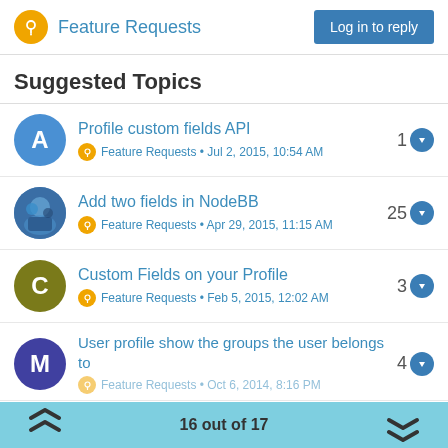Feature Requests  Log in to reply
Suggested Topics
Profile custom fields API — Feature Requests • Jul 2, 2015, 10:54 AM — 1
Add two fields in NodeBB — Feature Requests • Apr 29, 2015, 11:15 AM — 25
Custom Fields on your Profile — Feature Requests • Feb 5, 2015, 12:02 AM — 3
User profile show the groups the user belongs to — Feature Requests • Oct 6, 2014, 8:16 PM — 4
16 out of 17